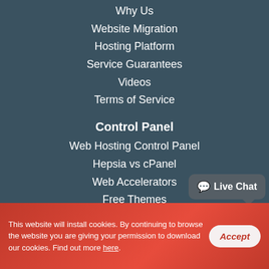Why Us
Website Migration
Hosting Platform
Service Guarantees
Videos
Terms of Service
Control Panel
Web Hosting Control Panel
Hepsia vs cPanel
Web Accelerators
Free Themes
Domain Name Manager
File Manager
Hepsia Email Manager
Stats Manager
Live Chat
This website will install cookies. By continuing to browse the website you are giving your permission to download our cookies. Find out more here.